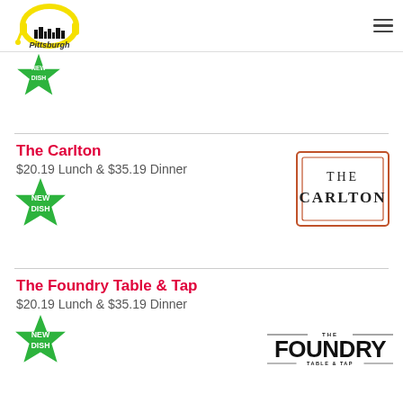Pittsburgh Restaurant logo / hamburger menu
[Figure (logo): Green star badge with NEW DISH text (partial, top section)]
The Carlton
$20.19 Lunch & $35.19 Dinner
[Figure (logo): Green star badge with NEW DISH text]
[Figure (logo): The Carlton restaurant logo - rectangular border with THE CARLTON text]
The Foundry Table & Tap
$20.19 Lunch & $35.19 Dinner
[Figure (logo): Green star badge with NEW DISH text]
[Figure (logo): The Foundry Table & Tap restaurant logo - bold black text]